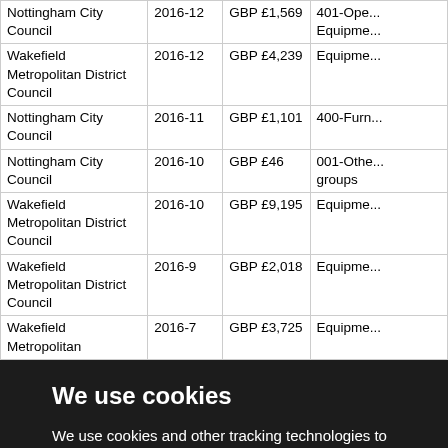|  | Date | Amount | Category |
| --- | --- | --- | --- |
| Nottingham City Council | 2016-12 | GBP £1,569 | 401-Ope... Equipme... |
| Wakefield Metropolitan District Council | 2016-12 | GBP £4,239 | Equipme... |
| Nottingham City Council | 2016-11 | GBP £1,101 | 400-Furn... |
| Nottingham City Council | 2016-10 | GBP £46 | 001-Othe... groups |
| Wakefield Metropolitan District Council | 2016-10 | GBP £9,195 | Equipme... |
| Wakefield Metropolitan District Council | 2016-9 | GBP £2,018 | Equipme... |
| Wakefield Metropolitan | 2016-7 | GBP £3,725 | Equipme... |
We use cookies
We use cookies and other tracking technologies to improve your browsing experience on our website, to show you personalized content and targeted ads, to analyze our website traffic, and